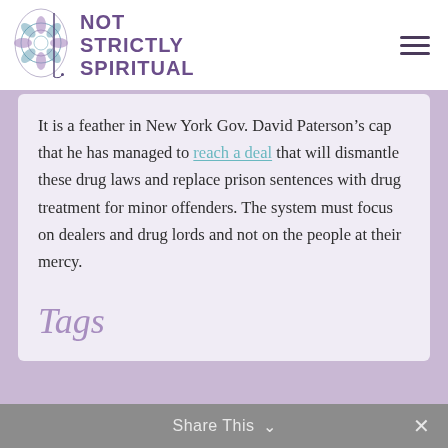NOT STRICTLY SPIRITUAL
It is a feather in New York Gov. David Paterson’s cap that he has managed to reach a deal that will dismantle these drug laws and replace prison sentences with drug treatment for minor offenders. The system must focus on dealers and drug lords and not on the people at their mercy.
Tags
Share This